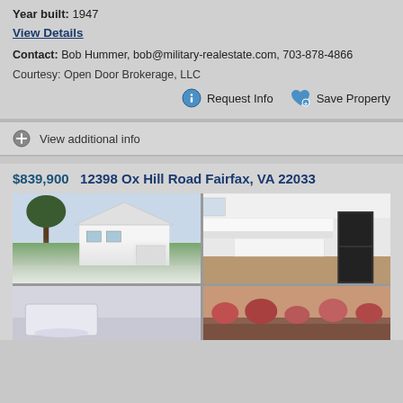Year built: 1947
View Details
Contact: Bob Hummer, bob@military-realestate.com, 703-878-4866
Courtesy: Open Door Brokerage, LLC
Request Info
Save Property
View additional info
$839,900  12398 Ox Hill Road Fairfax, VA 22033
[Figure (photo): Property listing photos: exterior view of white two-story house with tree and driveway, interior kitchen view with white cabinets and island, two additional interior/exterior partial photos below]